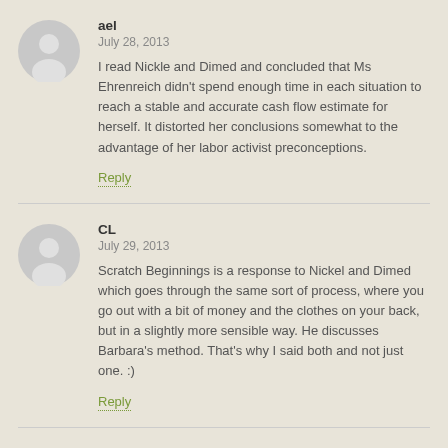ael
July 28, 2013
I read Nickle and Dimed and concluded that Ms Ehrenreich didn’t spend enough time in each situation to reach a stable and accurate cash flow estimate for herself. It distorted her conclusions somewhat to the advantage of her labor activist preconceptions.
Reply
CL
July 29, 2013
Scratch Beginnings is a response to Nickel and Dimed which goes through the same sort of process, where you go out with a bit of money and the clothes on your back, but in a slightly more sensible way. He discusses Barbara’s method. That’s why I said both and not just one. :)
Reply